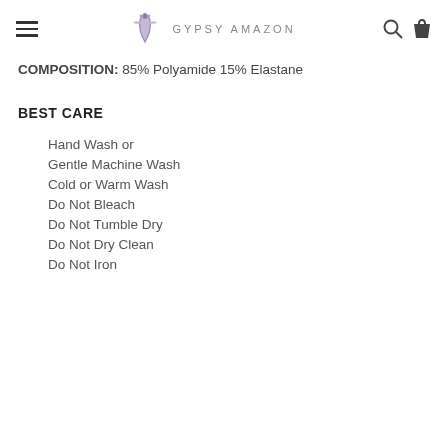GYPSY AMAZON
COMPOSITION: 85% Polyamide 15% Elastane
BEST CARE
Hand Wash or
Gentle Machine Wash
Cold or Warm Wash
Do Not Bleach
Do Not Tumble Dry
Do Not Dry Clean
Do Not Iron